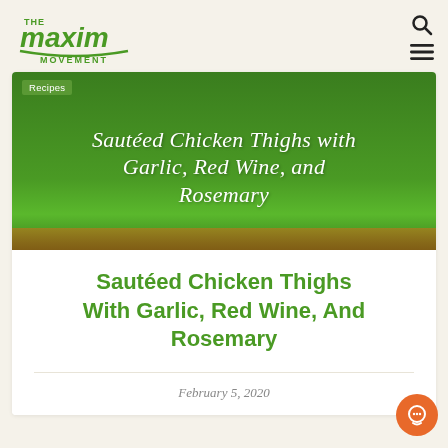THE maxim MOVEMENT
[Figure (illustration): Green banner with cursive white text reading 'Sautéed Chicken Thighs with Garlic, Red Wine, and Rosemary' and a 'Recipes' tag in upper left corner, with a bottom strip showing food image]
Sautéed Chicken Thighs With Garlic, Red Wine, And Rosemary
February 5, 2020